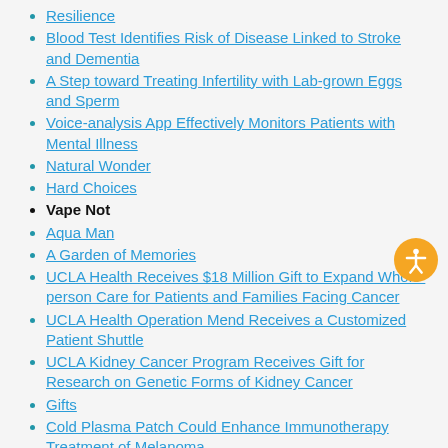Resilience
Blood Test Identifies Risk of Disease Linked to Stroke and Dementia
A Step toward Treating Infertility with Lab-grown Eggs and Sperm
Voice-analysis App Effectively Monitors Patients with Mental Illness
Natural Wonder
Hard Choices
Vape Not
Aqua Man
A Garden of Memories
UCLA Health Receives $18 Million Gift to Expand Whole-person Care for Patients and Families Facing Cancer
UCLA Health Operation Mend Receives a Customized Patient Shuttle
UCLA Kidney Cancer Program Receives Gift for Research on Genetic Forms of Kidney Cancer
Gifts
Cold Plasma Patch Could Enhance Immunotherapy Treatment of Melanoma
Low-cost Ventilator Prototype Could Provide Support in COVID-19 Pandemic